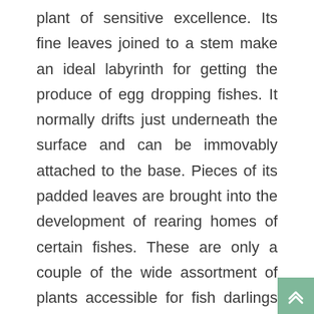plant of sensitive excellence. Its fine leaves joined to a stem make an ideal labyrinth for getting the produce of egg dropping fishes. It normally drifts just underneath the surface and can be immovably attached to the base. Pieces of its padded leaves are brought into the development of rearing homes of certain fishes. These are only a couple of the wide assortment of plants accessible for fish darlings all over.